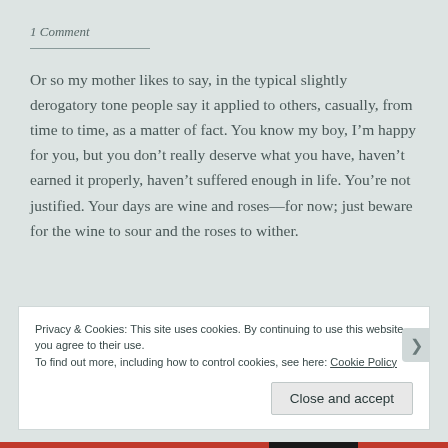1 Comment
Or so my mother likes to say, in the typical slightly derogatory tone people say it applied to others, casually, from time to time, as a matter of fact. You know my boy, I’m happy for you, but you don’t really deserve what you have, haven’t earned it properly, haven’t suffered enough in life. You’re not justified. Your days are wine and roses —for now; just beware for the wine to sour and the roses to wither.
Privacy & Cookies: This site uses cookies. By continuing to use this website, you agree to their use.
To find out more, including how to control cookies, see here: Cookie Policy
Close and accept